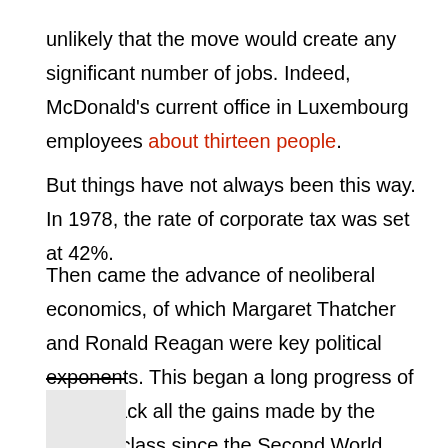unlikely that the move would create any significant number of jobs. Indeed, McDonald's current office in Luxembourg employees about thirteen people.
But things have not always been this way. In 1978, the rate of corporate tax was set at 42%.
Then came the advance of neoliberal economics, of which Margaret Thatcher and Ronald Reagan were key political exponents. This began a long progress of rolling back all the gains made by the working class since the Second World War.